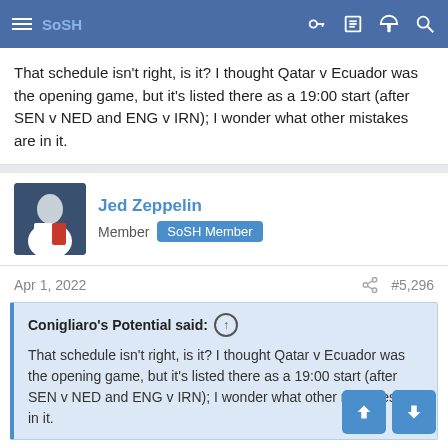SoSH navigation bar
That schedule isn't right, is it? I thought Qatar v Ecuador was the opening game, but it's listed there as a 19:00 start (after SEN v NED and ENG v IRN); I wonder what other mistakes are in it.
Jed Zeppelin — Member — SoSH Member — Apr 1, 2022 — #5,296
Conigliaro's Potential said: ↑
That schedule isn't right, is it? I thought Qatar v Ecuador was the opening game, but it's listed there as a 19:00 start (after SEN v NED and ENG v IRN); I wonder what other mistakes are in it.
Seems like it is legit, maybe to get it in local primetime? I'm seeing that the time was moved.
Really happy with the opening matches, seems like it should reduce...